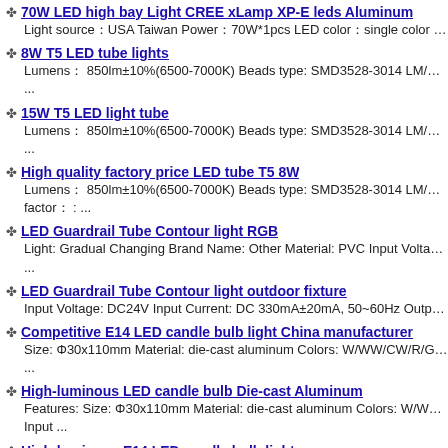70W LED high bay Light CREE xLamp XP-E leds Aluminum
Light source：USA Taiwan Power：70W*1pcs LED color：single color Shell：Alum...
8W T5 LED tube lights
Lumens： 850lm±10%(6500-7000K) Beads type: SMD3528-3014 LM/PCS：7-8
...
15W T5 LED light tube
Lumens： 850lm±10%(6500-7000K) Beads type: SMD3528-3014 LM/PCS：7-8
...
High quality factory price LED tube T5 8W
Lumens： 850lm±10%(6500-7000K) Beads type: SMD3528-3014 LM/PCS：7-8 factor： : ...
LED Guardrail Tube Contour light RGB
Light: Gradual Changing Brand Name: Other Material: PVC Input Voltage: 220
...
LED Guardrail Tube Contour light outdoor fixture
Input Voltage: DC24V Input Current: DC 330mA±20mA, 50~60Hz Output Wat...
Competitive E14 LED candle bulb light China manufacturer
Size: Φ30x110mm Material: die-cast aluminum Colors: W/WW/CW/R/G/B Fre
...
High-luminous LED candle bulb Die-cast Aluminum
Features: Size: Φ30x110mm Material: die-cast aluminum Colors: W/WW/CW/ Input ...
High-luminous E14 LED candle bulb light...